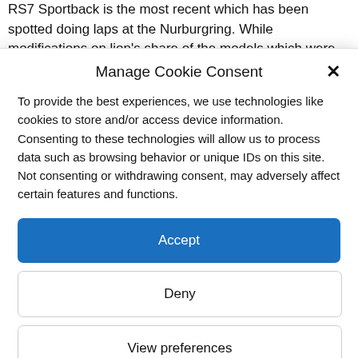RS7 Sportback is the most recent which has been spotted doing laps at the Nurburgring. While modifications on lion's share of the models which were spotted before were negligible, the new Audi RS7 by extensive is unique. In spite of the substantial disguise, it
Manage Cookie Consent
To provide the best experiences, we use technologies like cookies to store and/or access device information. Consenting to these technologies will allow us to process data such as browsing behavior or unique IDs on this site. Not consenting or withdrawing consent, may adversely affect certain features and functions.
Accept
Deny
View preferences
Privacy Policy